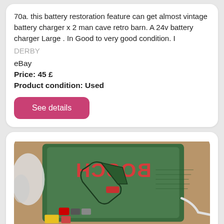70a. this battery restoration feature can get almost vintage battery charger x 2 man cave retro barn. A 24v battery charger Large . In Good to very good condition. I
DERBY
eBay
Price: 45 £
Product condition: Used
See details
[Figure (photo): Photo of a green Bosch drill/tool box with the Bosch logo in red on the front, surrounded by various items on a carpet]
BOSCH 24V drill with box battery charger 100% work